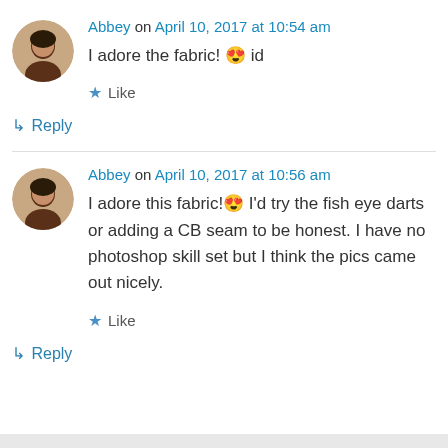Abbey on April 10, 2017 at 10:54 am
I adore the fabric! 😍 id
Like
↳ Reply
Abbey on April 10, 2017 at 10:56 am
I adore this fabric!😍 I'd try the fish eye darts or adding a CB seam to be honest. I have no photoshop skill set but I think the pics came out nicely.
Like
↳ Reply